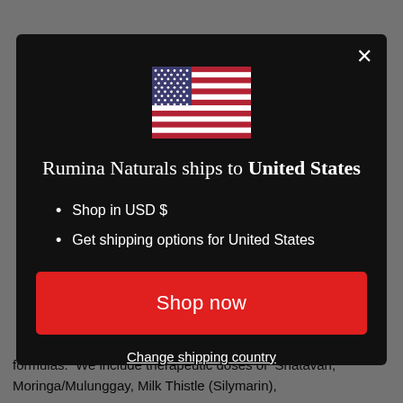formulas. We include therapeutic doses of Shatavari, Moringa/Mulunggay, Milk Thistle (Silymarin),
[Figure (screenshot): Modal dialog on Rumina Naturals website with dark background, US flag, heading 'Rumina Naturals ships to United States', bullet points listing 'Shop in USD $' and 'Get shipping options for United States', a red 'Shop now' button, and a 'Change shipping country' link. An X close button is in the top-right corner of the modal.]